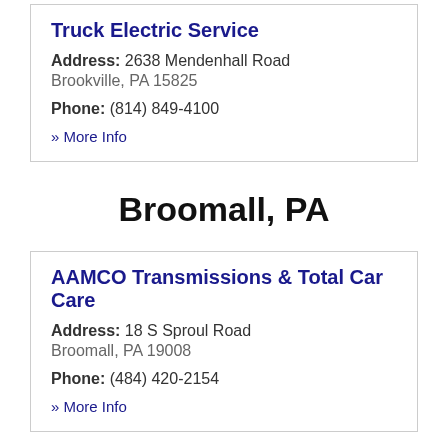Truck Electric Service
Address: 2638 Mendenhall Road
Brookville, PA 15825
Phone: (814) 849-4100
» More Info
Broomall, PA
AAMCO Transmissions & Total Car Care
Address: 18 S Sproul Road
Broomall, PA 19008
Phone: (484) 420-2154
» More Info